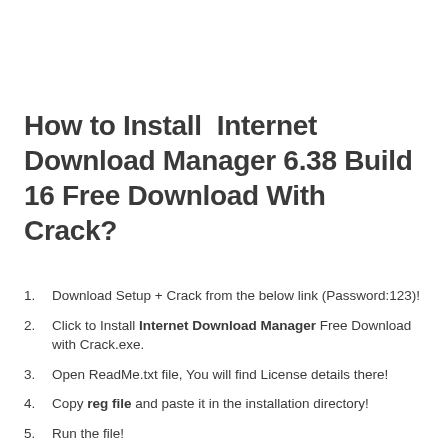How to Install  Internet Download Manager 6.38 Build 16 Free Download With Crack?
Download Setup + Crack from the below link (Password:123)!
Click to Install Internet Download Manager Free Download with Crack.exe.
Open ReadMe.txt file, You will find License details there!
Copy reg file and paste it in the installation directory!
Run the file!
Restart Your PC.
Done!